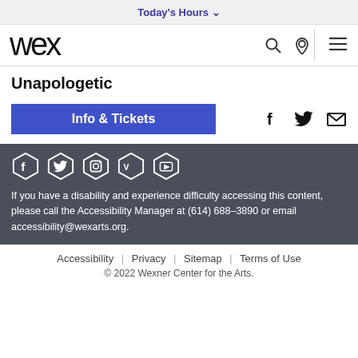Today's Hours ∨
[Figure (logo): Wexner Center WEX logo, stylized lowercase letters]
Unapologetic
Info & Tickets
[Figure (infographic): Social media icons: Facebook, Twitter, Instagram, Vimeo, YouTube in hexagonal shapes]
If you have a disability and experience difficulty accessing this content, please call the Accessibility Manager at (614) 688–3890 or email accessibility@wexarts.org.
Accessibility | Privacy | Sitemap | Terms of Use
© 2022 Wexner Center for the Arts.